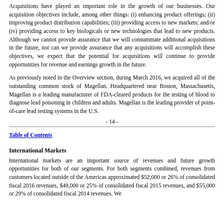Acquisitions have played an important role in the growth of our businesses. Our acquisition objectives include, among other things: (i) enhancing product offerings; (ii) improving product distribution capabilities; (iii) providing access to new markets; and/or (iv) providing access to key biologicals or new technologies that lead to new products. Although we cannot provide assurance that we will consummate additional acquisitions in the future, nor can we provide assurance that any acquisitions will accomplish these objectives, we expect that the potential for acquisitions will continue to provide opportunities for revenue and earnings growth in the future.
As previously noted in the Overview section, during March 2016, we acquired all of the outstanding common stock of Magellan. Headquartered near Boston, Massachusetts, Magellan is a leading manufacturer of FDA-cleared products for the testing of blood to diagnose lead poisoning in children and adults. Magellan is the leading provider of point-of-care lead testing systems in the U.S.
- 14 -
Table of Contents
International Markets
International markets are an important source of revenues and future growth opportunities for both of our segments. For both segments combined, revenues from customers located outside of the Americas approximated $52,000 or 26% of consolidated fiscal 2016 revenues, $49,000 or 25% of consolidated fiscal 2015 revenues, and $55,000 or 29% of consolidated fiscal 2014 revenues. We